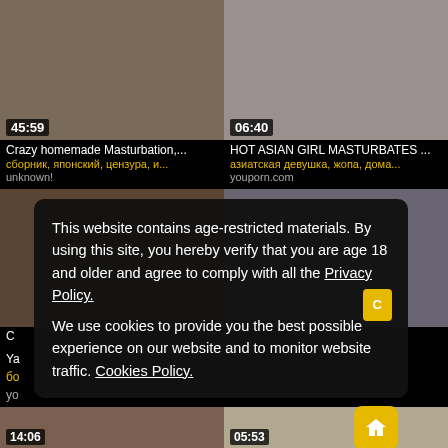[Figure (screenshot): Video thumbnail top-left with duration 45:59]
Crazy homemade Masturbation,...
сборник, японский, цензура, и...
unknown!
[Figure (screenshot): Video thumbnail top-right with duration 06:40]
HOT ASIAN GIRL MASTURBATES ...
азиатская девушка, жопа, дома...
youporn.com
[Figure (screenshot): Video thumbnail middle-left]
[Figure (screenshot): Video thumbnail middle-right]
This website contains age-restricted materials. By using this site, you hereby verify that you are age 18 and older and agree to comply with all the Privacy Policy.
We use cookies to provide you the best possible experience on our website and to monitor website traffic. Cookies Policy.
[Figure (screenshot): Video thumbnail bottom-left with duration 14:06]
[Figure (screenshot): Video thumbnail bottom-right with duration 05:53]